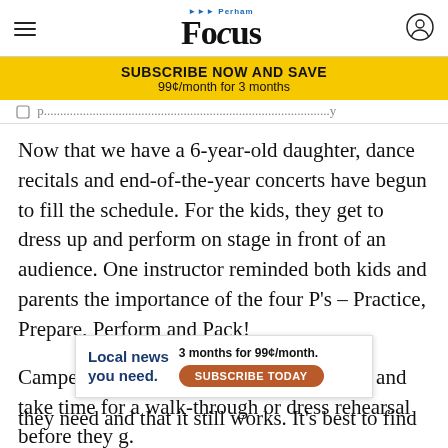Perham Focus
SUBSCRIBE NOW AND SAVE
99¢/month for 3 months
Now that we have a 6-year-old daughter, dance recitals and end-of-the-year concerts have begun to fill the schedule. For the kids, they get to dress up and perform on stage in front of an audience. One instructor reminded both kids and parents the importance of the four P's – Practice, Prepare, Perform and Pack!
Campers might take a tip from this advice and take time for a walk-through or dress rehearsal before they s[...]ng they need and that it still works. It's best to find
Local news you need.  3 months for 99¢/month.  SUBSCRIBE TODAY